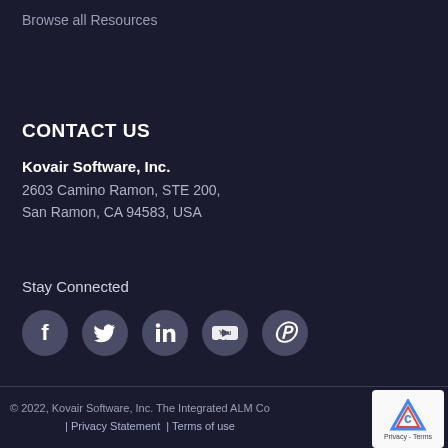Browse all Resources
CONTACT US
Kovair Software, Inc.
2603 Camino Ramon, STE 200,
San Ramon, CA 94583, USA
Stay Connected
[Figure (illustration): Social media icons: Facebook, Twitter, LinkedIn, YouTube, Pinterest — circular gray icons on dark background]
© 2022, Kovair Software, Inc. The Integrated ALM Co... | Privacy Statement | Terms of use